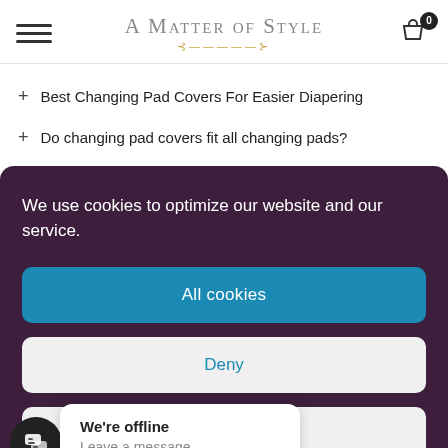A Matter Of Style
Best Changing Pad Covers For Easier Diapering
Do changing pad covers fit all changing pads?
We use cookies to optimize our website and our service.
All cookies
Deny
View preferences
We're offline
Leave a message